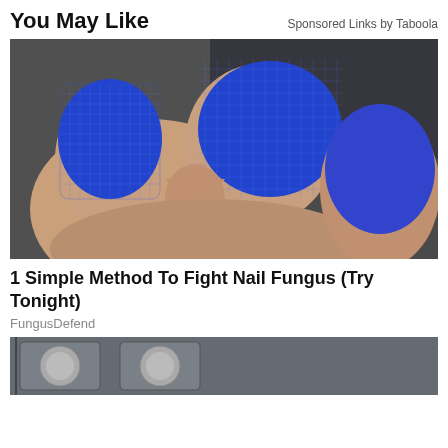You May Like
Sponsored Links by Taboola
[Figure (photo): Close-up photo of human toes wrapped in blue mesh/bandage fabric, showing nail fungus treatment context]
1 Simple Method To Fight Nail Fungus (Try Tonight)
FungusDefend
[Figure (photo): Partial view of a second advertisement image, partially cut off at the bottom of the page]